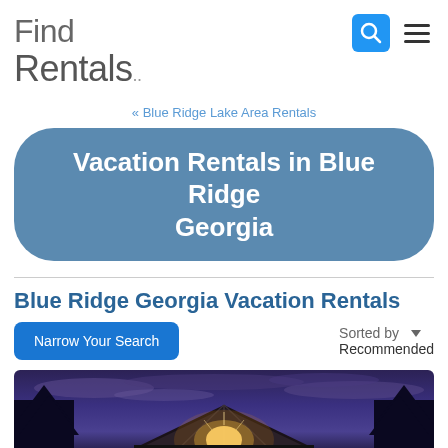[Figure (logo): Find Rentals logo — stylized text 'Find Rentals.' in gray with thin weight]
« Blue Ridge Lake Area Rentals
Vacation Rentals in Blue Ridge Georgia
Blue Ridge Georgia Vacation Rentals
Narrow Your Search
Sorted by ▾ Recommended
[Figure (photo): Night photograph of a cabin/lodge with triangular peaked roof, warm interior lights glowing through the peak, twilight sky with blue-purple clouds and silhouetted trees]